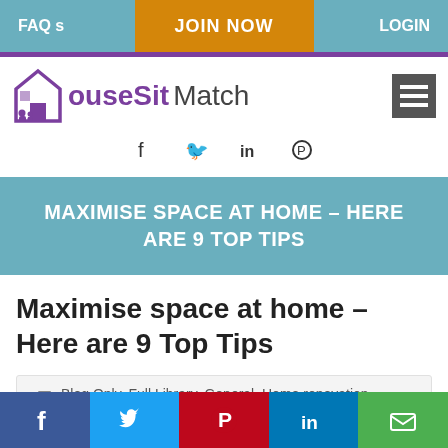FAQ s | JOIN NOW | LOGIN
[Figure (logo): HouseSit Match logo with purple house icon and people silhouettes]
f  in  ®
MAXIMISE SPACE AT HOME – HERE ARE 9 TOP TIPS
Maximise space at home – Here are 9 Top Tips
Blog Only, Full Library, General, Home renovation, Homeowners
f  Twitter  Pinterest  in  Email share bar